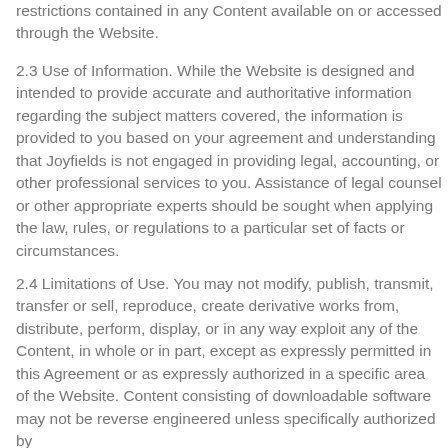restrictions contained in any Content available on or accessed through the Website.
2.3 Use of Information. While the Website is designed and intended to provide accurate and authoritative information regarding the subject matters covered, the information is provided to you based on your agreement and understanding that Joyfields is not engaged in providing legal, accounting, or other professional services to you. Assistance of legal counsel or other appropriate experts should be sought when applying the law, rules, or regulations to a particular set of facts or circumstances.
2.4 Limitations of Use. You may not modify, publish, transmit, transfer or sell, reproduce, create derivative works from, distribute, perform, display, or in any way exploit any of the Content, in whole or in part, except as expressly permitted in this Agreement or as expressly authorized in a specific area of the Website. Content consisting of downloadable software may not be reverse engineered unless specifically authorized by